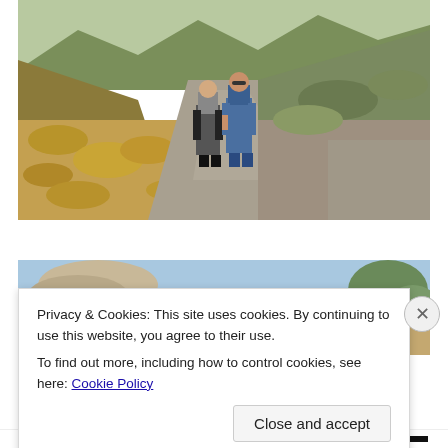[Figure (photo): Two men standing on a gravel path/road in a dry, hilly landscape with golden-brown grasses and shrubs. One man wears a dark t-shirt and black pants, the other wears a blue long-sleeve shirt and jeans with sunglasses. Mountains visible in background.]
[Figure (photo): Partially visible second outdoor photo showing desert/arid landscape with blue sky, partially obscured by cookie consent banner.]
Privacy & Cookies: This site uses cookies. By continuing to use this website, you agree to their use.
To find out more, including how to control cookies, see here: Cookie Policy
Close and accept